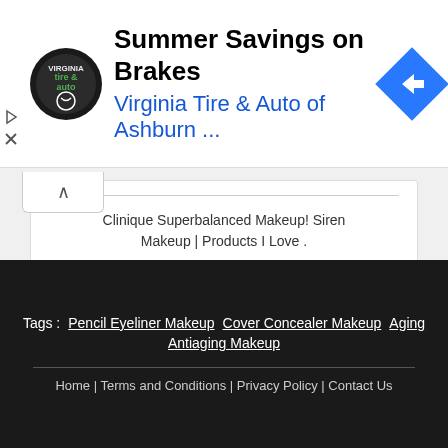[Figure (screenshot): Ad banner for Virginia Tire & Auto of Ashburn with logo, headline 'Summer Savings on Brakes', blue right-arrow diamond icon, and small play/close icons on left]
Clinique Superbalanced Makeup! Siren Makeup | Products I Love .
[Figure (other): Loading spinner animation with dots arranged in circle and LOADING text in center]
Clinique Superbalanced Silk Makeup
Tags : Pencil Eyeliner Makeup  Cover Concealer Makeup  Aging Antiaging Makeup
Home | Terms and Conditions | Privacy Policy | Contact Us